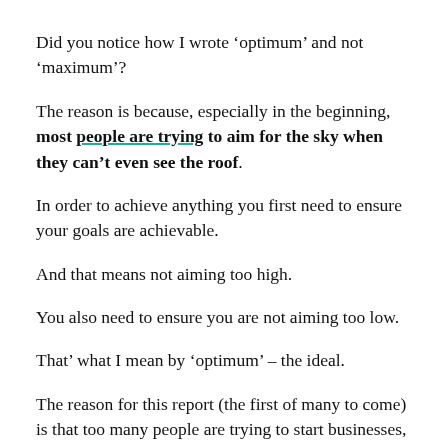Did you notice how I wrote ‘optimum’ and not ‘maximum’?
The reason is because, especially in the beginning, most people are trying to aim for the sky when they can’t even see the roof.
In order to achieve anything you first need to ensure your goals are achievable.
And that means not aiming too high.
You also need to ensure you are not aiming too low.
That’ what I mean by ‘optimum’ – the ideal.
The reason for this report (the first of many to come) is that too many people are trying to start businesses, online or offline, but have no idea how to manage